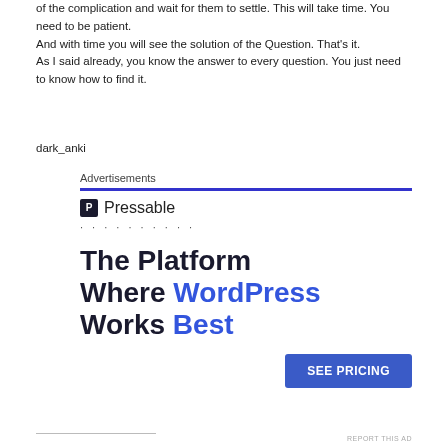of the complication and wait for them to settle. This will take time. You need to be patient.
And with time you will see the solution of the Question. That's it.
As I said already, you know the answer to every question. You just need to know how to find it.
dark_anki
Advertisements
[Figure (other): Pressable advertisement banner. Shows Pressable logo with icon, dots, large headline 'The Platform Where WordPress Works Best' with WordPress and Best in blue, and a blue 'SEE PRICING' button.]
REPORT THIS AD